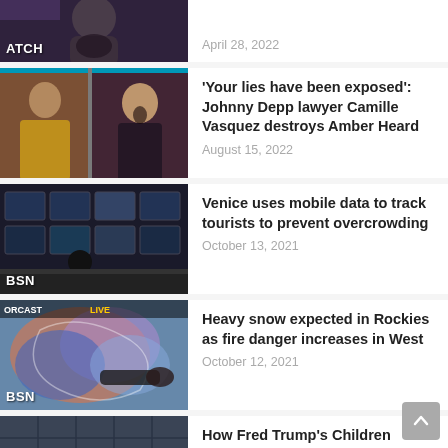[Figure (screenshot): Partial thumbnail of a man with beard, with label 'ATCH' visible in bottom-left corner]
April 28, 2022
[Figure (screenshot): Thumbnail of women in a courtroom scene]
'Your lies have been exposed': Johnny Depp lawyer Camille Vasquez destroys Amber Heard
August 15, 2022
[Figure (screenshot): Thumbnail of a control room with monitors, with label 'BSN' in bottom-left corner]
Venice uses mobile data to track tourists to prevent overcrowding
October 13, 2021
[Figure (screenshot): Thumbnail of a weather map with colorful satellite imagery, with labels 'ORCAST' and 'BSN' visible]
Heavy snow expected in Rockies as fire danger increases in West
October 12, 2021
[Figure (screenshot): Thumbnail of grayscale aerial map with dark circular objects]
How Fred Trump's Children Became His Bankers | NYT News
April 27, 2022